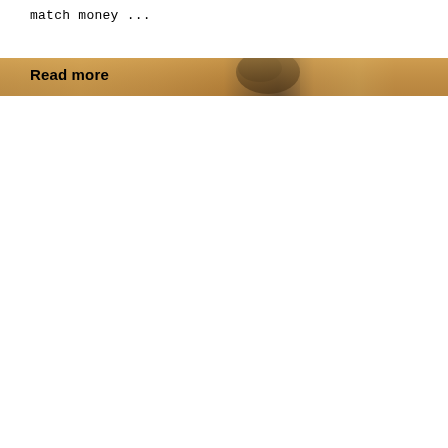match money ...
[Figure (photo): A golden/tan colored banner image with a blurred face/portrait visible on the right side, used as a decorative section divider with 'Read more' text overlaid.]
Read more